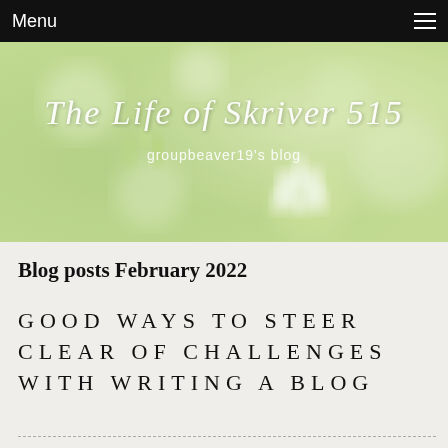Menu
[Figure (photo): Blurred floral background with white flowers and green bokeh; overlay text reads 'The Life of Skriver 515' in cursive script and 'groupbeaver19's blog' below]
The Life of Skriver 515
groupbeaver19's blog
Blog posts February 2022
GOOD WAYS TO STEER CLEAR OF CHALLENGES WITH WRITING A BLOG